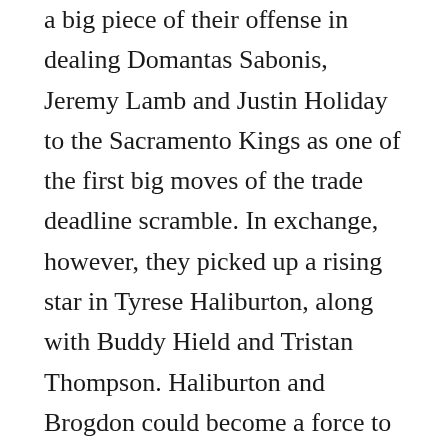a big piece of their offense in dealing Domantas Sabonis, Jeremy Lamb and Justin Holiday to the Sacramento Kings as one of the first big moves of the trade deadline scramble. In exchange, however, they picked up a rising star in Tyrese Haliburton, along with Buddy Hield and Tristan Thompson. Haliburton and Brogdon could become a force to be reckoned with in the backcourt for Indiana, but there will be an adjustment period, with things still feeling green by Tuesday night. It will be interesting to see the new dynamics of the Pacers, who are currently on the outside looking in at the Eastern Conference playoffs, take on Milwaukee on Tuesday.